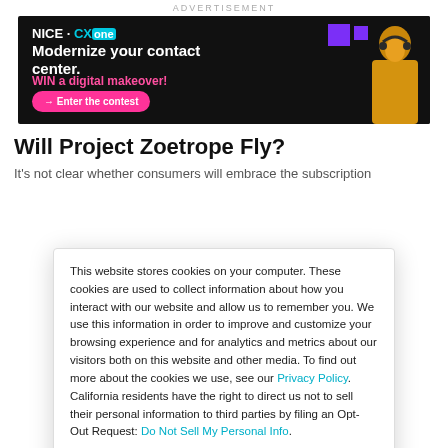ADVERTISEMENT
[Figure (photo): NICE CXone advertisement banner: dark background with text 'Modernize your contact center. WIN a digital makeover!' and a pink button '→ Enter the contest', with a person wearing headphones on the right side and purple squares decoration.]
Will Project Zoetrope Fly?
It's not clear whether consumers will embrace the subscription
This website stores cookies on your computer. These cookies are used to collect information about how you interact with our website and allow us to remember you. We use this information in order to improve and customize your browsing experience and for analytics and metrics about our visitors both on this website and other media. To find out more about the cookies we use, see our Privacy Policy. California residents have the right to direct us not to sell their personal information to third parties by filing an Opt-Out Request: Do Not Sell My Personal Info.
Accept